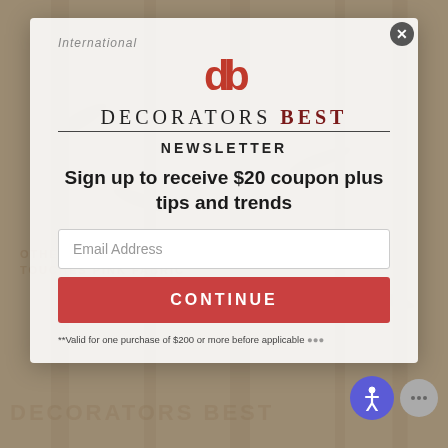[Figure (screenshot): Background decorative wallpaper/fabric pattern with botanical motifs in muted beige/tan tones, with faint watermark text reading 'OTHER COLORS FOR BRUNSCHWIG & FILS LES TOUCHES PINK FABRIC']
International
[Figure (logo): Decorators Best logo: red 'db' monogram above the text 'DECORATORS BEST' in serif font with horizontal rule]
NEWSLETTER
Sign up to receive $20 coupon plus tips and trends
Email Address
CONTINUE
**Valid for one purchase of $200 or more before applicable